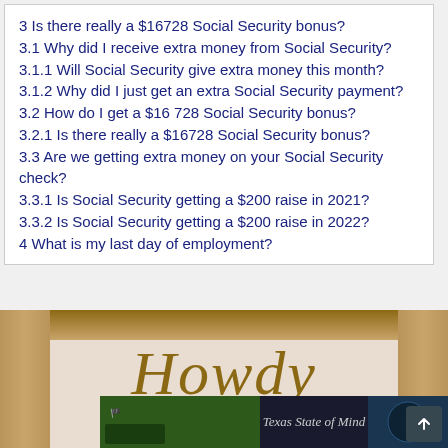3 Is there really a $16728 Social Security bonus?
3.1 Why did I receive extra money from Social Security?
3.1.1 Will Social Security give extra money this month?
3.1.2 Why did I just get an extra Social Security payment?
3.2 How do I get a $16 728 Social Security bonus?
3.2.1 Is there really a $16728 Social Security bonus?
3.3 Are we getting extra money on your Social Security check?
3.3.1 Is Social Security getting a $200 raise in 2021?
3.3.2 Is Social Security getting a $200 raise in 2022?
4 What is my last day of employment?
[Figure (photo): A photo of a wooden sign with the cursive word 'Howdy' in rope lettering, with a small circular trademark symbol. Below the sign are cards/postcards including one that reads 'Texas State of Mind' in cursive with a guitar and landscape imagery.]